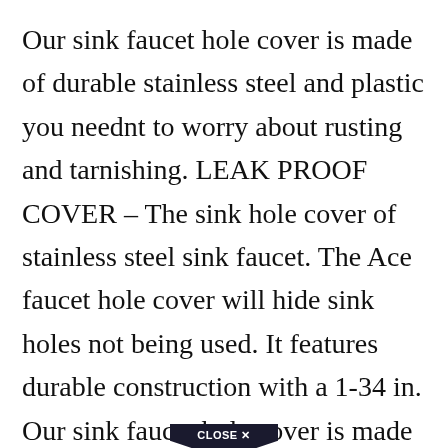Our sink faucet hole cover is made of durable stainless steel and plastic you neednt to worry about rusting and tarnishing. LEAK PROOF COVER – The sink hole cover of stainless steel sink faucet. The Ace faucet hole cover will hide sink holes not being used. It features durable construction with a 1-34 in. Our sink faucet hole cover is made of durable stainless steel and plastic you neednt to worry about rusting and tarnishing.